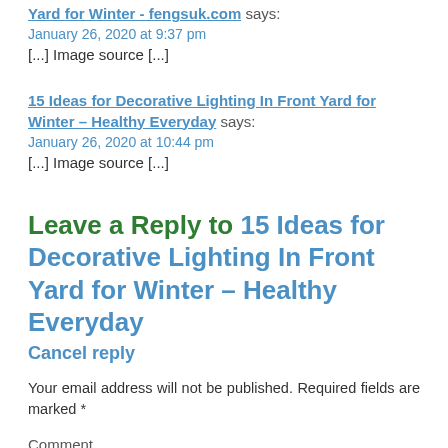Yard for Winter – fengsuk.com says:
January 26, 2020 at 9:37 pm
[...] Image source [...]
15 Ideas for Decorative Lighting In Front Yard for Winter – Healthy Everyday says:
January 26, 2020 at 10:44 pm
[...] Image source [...]
Leave a Reply to 15 Ideas for Decorative Lighting In Front Yard for Winter – Healthy Everyday
Cancel reply
Your email address will not be published. Required fields are marked *
Comment